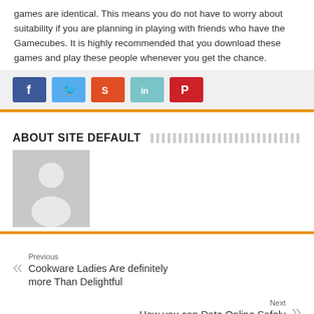games are identical. This means you do not have to worry about suitability if you are planning in playing with friends who have the Gamecubes. It is highly recommended that you download these games and play these people whenever you get the chance.
[Figure (other): Social share buttons: Facebook (blue), Twitter (light blue), StumbleUpon (orange-red), LinkedIn (teal), Pinterest (red)]
About Site Default
[Figure (photo): Generic user avatar placeholder image — gray background with white silhouette person icon]
Previous
Cookware Ladies Are definitely more Than Delightful
Next
How you can Date Online Safely